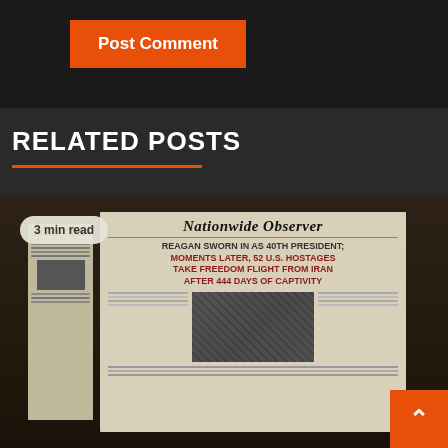Post Comment
RELATED POSTS
[Figure (photo): A newspaper front page showing 'Nationwide Observer' with headline: REAGAN SWORN IN AS 40TH PRESIDENT; MOMENTS LATER, 52 U.S. HOSTAGES TAKE FREEDOM FLIGHT FROM IRAN AFTER 444 DAYS OF CAPTIVITY. A '3 min read' badge overlays the top-left corner.]
IGN
Call of Duty: How to Decrypt the Floppy Disk for